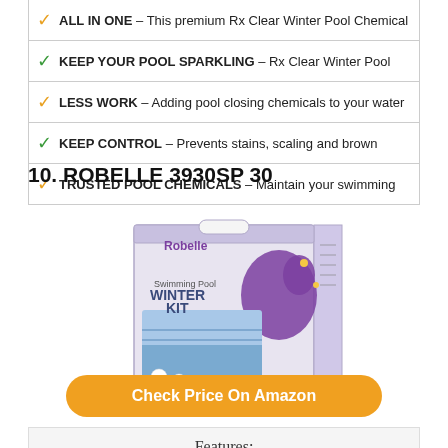✓ ALL IN ONE – This premium Rx Clear Winter Pool Chemical
✓ KEEP YOUR POOL SPARKLING – Rx Clear Winter Pool
✓ LESS WORK – Adding pool closing chemicals to your water
✓ KEEP CONTROL – Prevents stains, scaling and brown
✓ TRUSTED POOL CHEMICALS – Maintain your swimming
10. ROBELLE 3930SP 30
[Figure (photo): Robelle 3930SP 30 swimming pool winter kit box product photo]
Check Price On Amazon
Features: